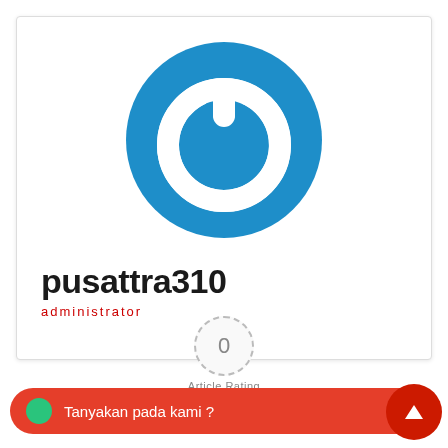[Figure (logo): Blue circular power button logo/icon on white background]
pusattra310
administrator
Tanyakan pada kami ?
Article Rating